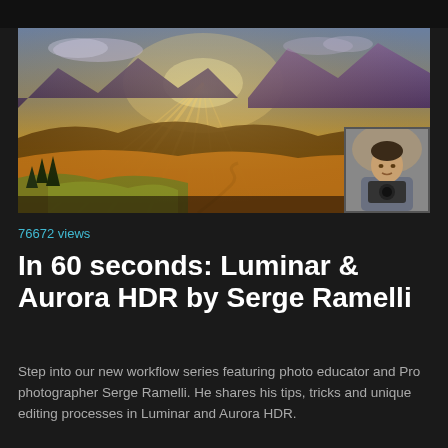[Figure (photo): Panoramic landscape photo with dramatic golden sunrays over mountains and valleys, with a small portrait photo of a photographer (Serge Ramelli) overlaid in the bottom-right corner]
76672 views
In 60 seconds: Luminar & Aurora HDR by Serge Ramelli
Step into our new workflow series featuring photo educator and Pro photographer Serge Ramelli. He shares his tips, tricks and unique editing processes in Luminar and Aurora HDR.